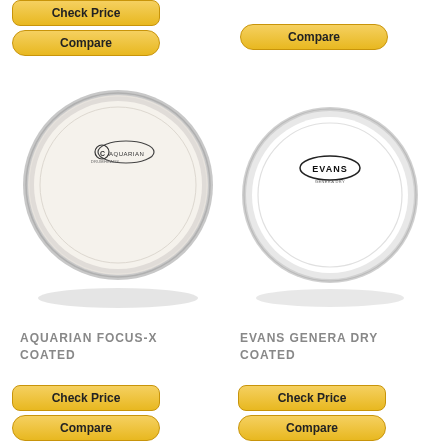[Figure (photo): Check Price button (yellow, rounded rectangle) at top left]
[Figure (photo): Compare button (yellow, pill shape) at top left]
[Figure (photo): Compare button (yellow, pill shape) at top right]
[Figure (photo): Aquarian Focus-X Coated drum head - round, off-white/cream colored drum head with Aquarian logo]
[Figure (photo): Evans Genera Dry Coated drum head - round, white drum head with Evans logo]
AQUARIAN FOCUS-X COATED
EVANS GENERA DRY COATED
[Figure (photo): Check Price button (yellow) bottom left]
[Figure (photo): Compare button (yellow, pill) bottom left]
[Figure (photo): Check Price button (yellow) bottom right]
[Figure (photo): Compare button (yellow, pill) bottom right]